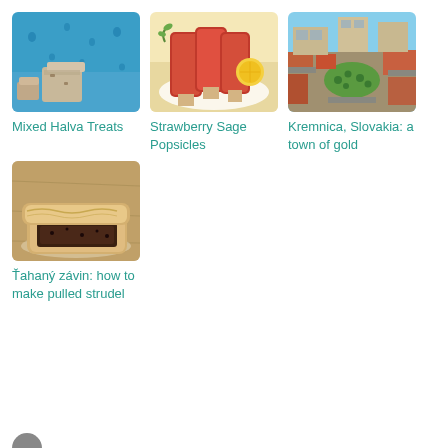[Figure (photo): Mixed halva treats on a blue surface with water droplets]
Mixed Halva Treats
[Figure (photo): Strawberry sage popsicles on a plate with lemon]
Strawberry Sage Popsicles
[Figure (photo): Aerial view of Kremnica, Slovakia town center with green park]
Kremnica, Slovakia: a town of gold
[Figure (photo): Ťahaný závin pulled strudel pastry cut open showing dark filling]
Ťahaný závin: how to make pulled strudel